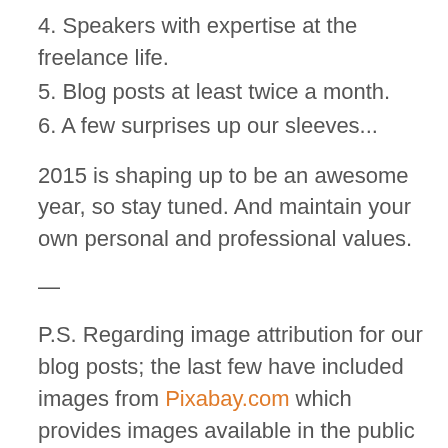4. Speakers with expertise at the freelance life.
5. Blog posts at least twice a month.
6. A few surprises up our sleeves...
2015 is shaping up to be an awesome year, so stay tuned.  And maintain your own personal and professional values.
—
P.S. Regarding image attribution for our blog posts; the last few have included images from Pixabay.com which provides images available in the public domain under the Creative Commons Deed CC0.  We will always provide image attribution if the image creator desires it.